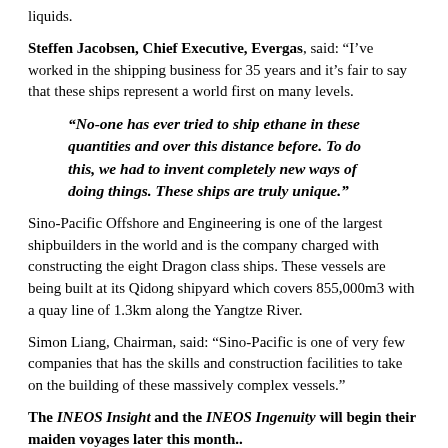liquids.
Steffen Jacobsen, Chief Executive, Evergas, said: “I’ve worked in the shipping business for 35 years and it’s fair to say that these ships represent a world first on many levels.
“No-one has ever tried to ship ethane in these quantities and over this distance before. To do this, we had to invent completely new ways of doing things. These ships are truly unique.”
Sino-Pacific Offshore and Engineering is one of the largest shipbuilders in the world and is the company charged with constructing the eight Dragon class ships. These vessels are being built at its Qidong shipyard which covers 855,000m3 with a quay line of 1.3km along the Yangtze River.
Simon Liang, Chairman, said: “Sino-Pacific is one of very few companies that has the skills and construction facilities to take on the building of these massively complex vessels.”
The INEOS Insight and the INEOS Ingenuity will begin their maiden voyages later this month..
Jim Ratcliffe, INEOS founder and chairman, added: